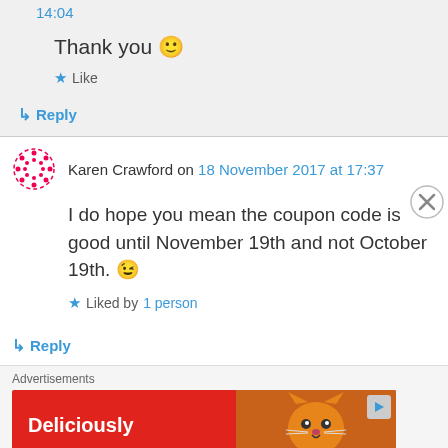14:04
Thank you 🙂
★ Like
↳ Reply
Karen Crawford on 18 November 2017 at 17:37
I do hope you mean the coupon code is good until November 19th and not October 19th. 😉
★ Liked by 1 person
↳ Reply
Advertisements
[Figure (illustration): Red advertisement banner with text 'Deliciously' and an image of an orange cat, with a play button icon in top right corner]